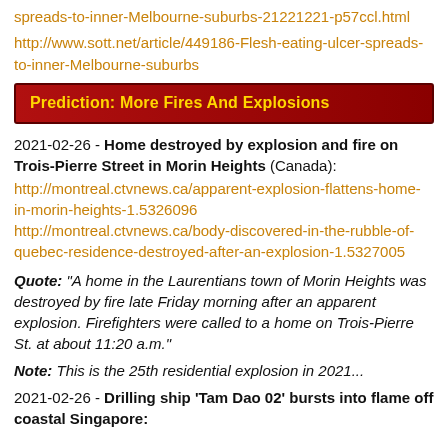spreads-to-inner-Melbourne-suburbs-21221221-p57ccl.html http://www.sott.net/article/449186-Flesh-eating-ulcer-spreads-to-inner-Melbourne-suburbs
Prediction: More Fires And Explosions
2021-02-26 - Home destroyed by explosion and fire on Trois-Pierre Street in Morin Heights (Canada): http://montreal.ctvnews.ca/apparent-explosion-flattens-home-in-morin-heights-1.5326096 http://montreal.ctvnews.ca/body-discovered-in-the-rubble-of-quebec-residence-destroyed-after-an-explosion-1.5327005
Quote: "A home in the Laurentians town of Morin Heights was destroyed by fire late Friday morning after an apparent explosion. Firefighters were called to a home on Trois-Pierre St. at about 11:20 a.m."
Note: This is the 25th residential explosion in 2021...
2021-02-26 - Drilling ship 'Tam Dao 02' bursts into flame off coastal Singapore: